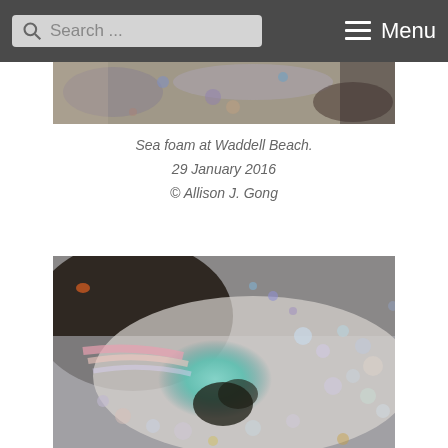Search ... Menu
[Figure (photo): Close-up photo of sea foam at Waddell Beach showing iridescent bubbles and colorful patterns — top portion cropped]
Sea foam at Waddell Beach.
29 January 2016
© Allison J. Gong
[Figure (photo): Close-up photograph of sea foam at Waddell Beach showing colorful iridescent bubbles with a teal/green pooled water area in the center and dark sand visible beneath the foam. Taken 29 January 2016 by Allison J. Gong.]